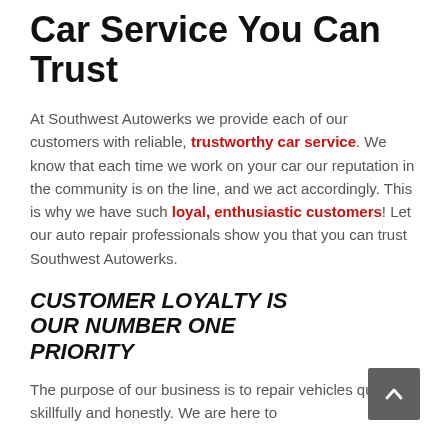Car Service You Can Trust
At Southwest Autowerks we provide each of our customers with reliable, trustworthy car service. We know that each time we work on your car our reputation in the community is on the line, and we act accordingly. This is why we have such loyal, enthusiastic customers! Let our auto repair professionals show you that you can trust Southwest Autowerks.
CUSTOMER LOYALTY IS OUR NUMBER ONE PRIORITY
The purpose of our business is to repair vehicles quickly, skillfully and honestly. We are here to